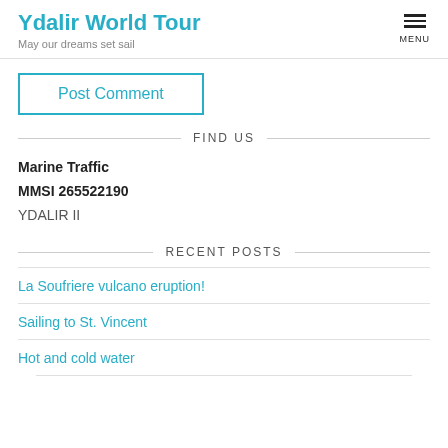Ydalir World Tour
May our dreams set sail
Post Comment
FIND US
Marine Traffic
MMSI 265522190
YDALIR II
RECENT POSTS
La Soufriere vulcano eruption!
Sailing to St. Vincent
Hot and cold water